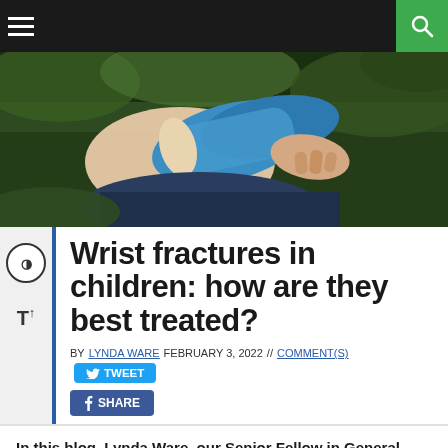Navigation bar with hamburger menu and search button
[Figure (photo): Child with blue cast on wrist/forearm, sitting on grass, dark background]
Wrist fractures in children: how are they best treated?
BY LYNDA WARE FEBRUARY 3, 2022 // COMMENT(S)
In this blog, Lynda Ware, our Senior Fellow in General Practice, looks at evidence and practice for different